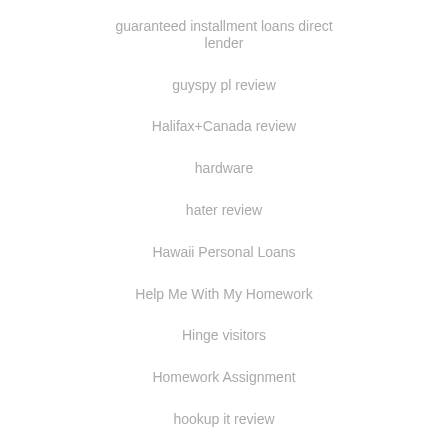guaranteed installment loans direct lender
guyspy pl review
Halifax+Canada review
hardware
hater review
Hawaii Personal Loans
Help Me With My Homework
Hinge visitors
Homework Assignment
hookup it review
Hornet visitors
Hot Brides